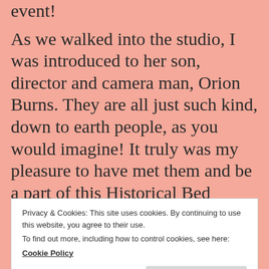event!
As we walked into the studio, I was introduced to her son, director and camera man, Orion Burns. They are all just such kind, down to earth people, as you would imagine! It truly was my pleasure to have met them and be a part of this Historical Bed Turning event!
I was able to get my book autographed
Privacy & Cookies: This site uses cookies. By continuing to use this website, you agree to their use.
To find out more, including how to control cookies, see here: Cookie Policy
Close and accept
patterns. AND a signed copy of